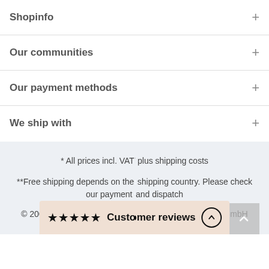Shopinfo
Our communities
Our payment methods
We ship with
* All prices incl. VAT plus shipping costs
**Free shipping depends on the shipping country. Please check our payment and dispatch
© 2009-2022 Baby-Garage Design by TC-Innovations GmbH
★★★★★ Customer reviews